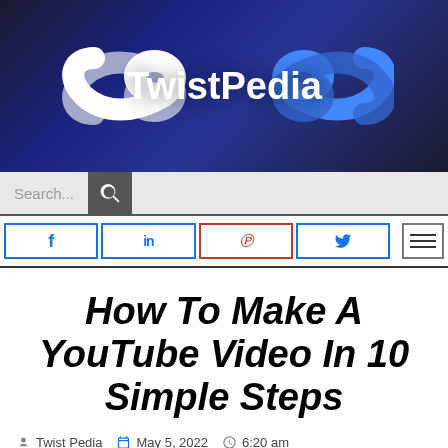[Figure (logo): TwistPedia logo with infinity-style swirl graphic on dark blue/black gradient background with white text 'TwistPedia' and blue swirl shapes]
[Figure (screenshot): Search bar with 'Search...' placeholder text and dark search icon button on the right]
[Figure (screenshot): Social sharing navigation bar with Facebook (f), LinkedIn (in), Pinterest (p), Twitter (t) buttons with blue borders, and hamburger menu icon]
How To Make A YouTube Video In 10 Simple Steps
Twist Pedia   May 5, 2022   6:20 am